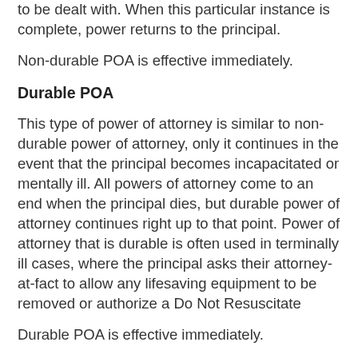to be dealt with. When this particular instance is complete, power returns to the principal.
Non-durable POA is effective immediately.
Durable POA
This type of power of attorney is similar to non-durable power of attorney, only it continues in the event that the principal becomes incapacitated or mentally ill. All powers of attorney come to an end when the principal dies, but durable power of attorney continues right up to that point. Power of attorney that is durable is often used in terminally ill cases, where the principal asks their attorney-at-fact to allow any lifesaving equipment to be removed or authorize a Do Not Resuscitate
Durable POA is effective immediately.
Springing POA
Springing power of attorney is used in cases where the principal cannot actively give permission, either verbally or in